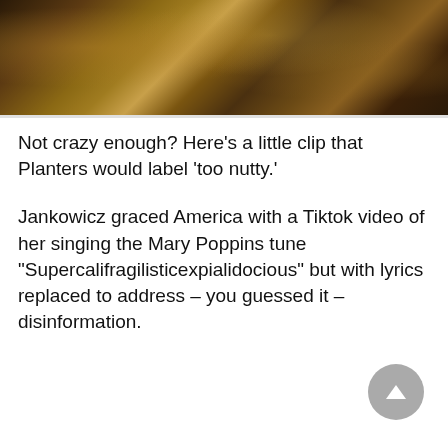[Figure (photo): A close-up photograph of what appears to be objects with warm brown and golden tones, likely nuts or wooden surfaces]
Not crazy enough? Here’s a little clip that Planters would label ‘too nutty.’
Jankowicz graced America with a Tiktok video of her singing the Mary Poppins tune “Supercalifragilisticexpialidocious” but with lyrics replaced to address – you guessed it – disinformation.